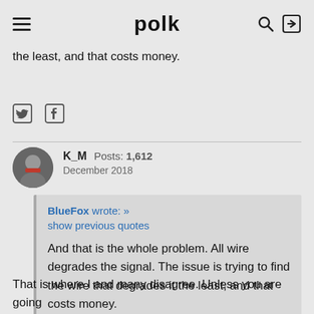polk
the least, and that costs money.
[Figure (other): Twitter and Facebook social sharing icons]
K_M  Posts: 1,612
December 2018

BlueFox wrote: »
show previous quotes

And that is the whole problem. All wire degrades the signal. The issue is trying to find the wire that degrades it the least, and that costs money.
That is where I and many disagree. Unless you are going